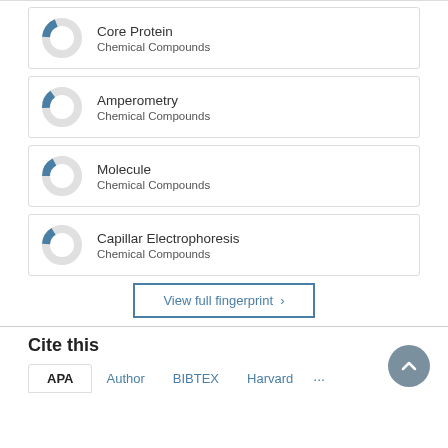[Figure (donut-chart): Small donut chart with blue segment, representing Core Protein Chemical Compounds fingerprint item]
Core Protein
Chemical Compounds
[Figure (donut-chart): Small donut chart with blue segment, representing Amperometry Chemical Compounds fingerprint item]
Amperometry
Chemical Compounds
[Figure (donut-chart): Small donut chart with blue segment, representing Molecule Chemical Compounds fingerprint item]
Molecule
Chemical Compounds
[Figure (donut-chart): Small donut chart with blue segment, representing Capillar Electrophoresis Chemical Compounds fingerprint item]
Capillar Electrophoresis
Chemical Compounds
View full fingerprint ›
Cite this
APA  Author  BIBTEX  Harvard  ...